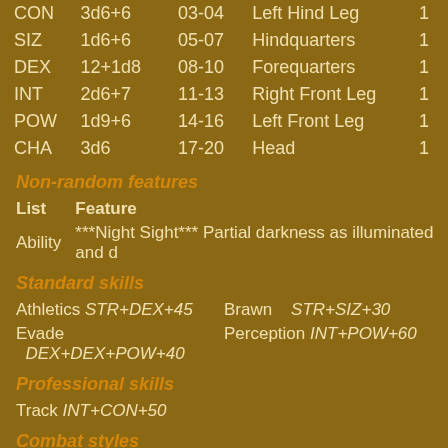|  |  |  |  |  |
| --- | --- | --- | --- | --- |
| CON | 3d6+6 | 03-04 | Left Hind Leg | 1 |
| SIZ | 1d6+6 | 05-07 | Hindquarters | 1 |
| DEX | 12+1d8 | 08-10 | Forequarters | 1 |
| INT | 2d6+7 | 11-13 | Right Front Leg | 1 |
| POW | 1d9+6 | 14-16 | Left Front Leg | 1 |
| CHA | 3d6 | 17-20 | Head | 1 |
Non-random features
| List | Feature |
| --- | --- |
| Ability | ***Night Sight*** Partial darkness as illuminated and d |
Standard skills
Athletics STR+DEX+45    Brawn    STR+SIZ+30
Evade    DEX+DEX+POW+40    Perception    INT+POW+60
Professional skills
Track INT+CON+50
Combat styles
Pack Savage STR+DEX+POW+1d6+35
Weapon options